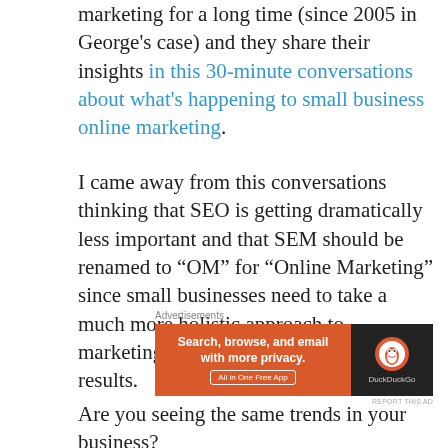marketing for a long time (since 2005 in George's case) and they share their insights in this 30-minute conversations about what's happening to small business online marketing.
I came away from this conversations thinking that SEO is getting dramatically less important and that SEM should be renamed to “OM” for “Online Marketing” since small businesses need to take a much more holistic approach to marketing than just worrying about search results.
[Figure (other): DuckDuckGo advertisement banner: orange left panel with text 'Search, browse, and email with more privacy. All in One Free App' and dark right panel with DuckDuckGo logo and name.]
Are you seeing the same trends in your business?